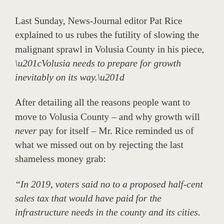Last Sunday, News-Journal editor Pat Rice explained to us rubes the futility of slowing the malignant sprawl in Volusia County in his piece, “Volusia needs to prepare for growth inevitably on its way.”
After detailing all the reasons people want to move to Volusia County – and why growth will never pay for itself – Mr. Rice reminded us of what we missed out on by rejecting the last shameless money grab:
“In 2019, voters said no to a proposed half-cent sales tax that would have paid for the infrastructure needs in the county and its cities.